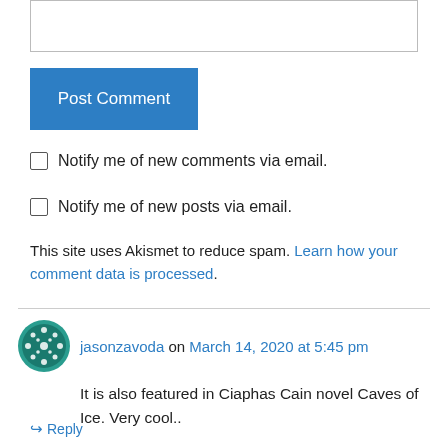[Figure (screenshot): Text input box at top of page]
Post Comment
Notify me of new comments via email.
Notify me of new posts via email.
This site uses Akismet to reduce spam. Learn how your comment data is processed.
jasonzavoda on March 14, 2020 at 5:45 pm
It is also featured in Ciaphas Cain novel Caves of Ice. Very cool..
Reply